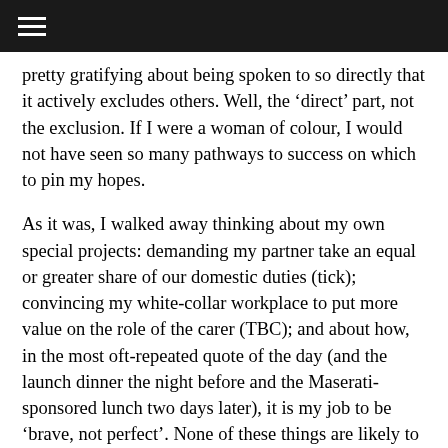☰
pretty gratifying about being spoken to so directly that it actively excludes others. Well, the 'direct' part, not the exclusion. If I were a woman of colour, I would not have seen so many pathways to success on which to pin my hopes.
As it was, I walked away thinking about my own special projects: demanding my partner take an equal or greater share of our domestic duties (tick); convincing my white-collar workplace to put more value on the role of the carer (TBC); and about how, in the most oft-repeated quote of the day (and the launch dinner the night before and the Maserati-sponsored lunch two days later), it is my job to be 'brave, not perfect'. None of these things are likely to improve the lot of the women in factories in Shenzhen, toiling over circuitry with tweezers 14 hours a day so that I can read the New Yorker on my iPad; none of these things help the trans